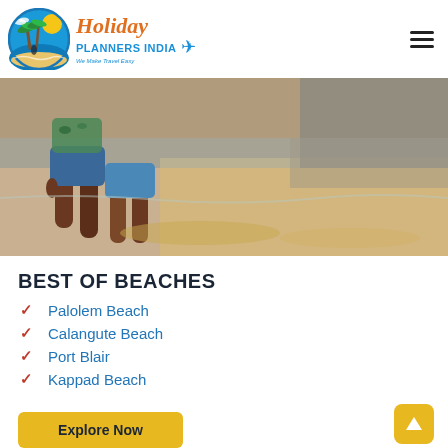[Figure (logo): Holiday Planners India logo with circular beach/palm tree icon and italic orange 'Holiday' text, blue 'Planners India' text, and blue airplane icon]
[Figure (photo): Two people walking on a beach, showing legs and feet, waves and sand in background]
BEST OF BEACHES
Palolem Beach
Calangute Beach
Port Blair
Kappad Beach
[Figure (other): Yellow 'Explore Now' button]
[Figure (other): Yellow back-to-top arrow button]